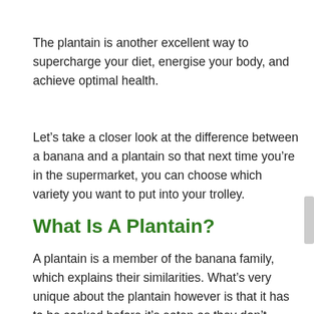The plantain is another excellent way to supercharge your diet, energise your body, and achieve optimal health.
Let's take a closer look at the difference between a banana and a plantain so that next time you're in the supermarket, you can choose which variety you want to put into your trolley.
What Is A Plantain?
A plantain is a member of the banana family, which explains their similarities. What's very unique about the plantain however is that it has to be cooked before it's eaten as they don't